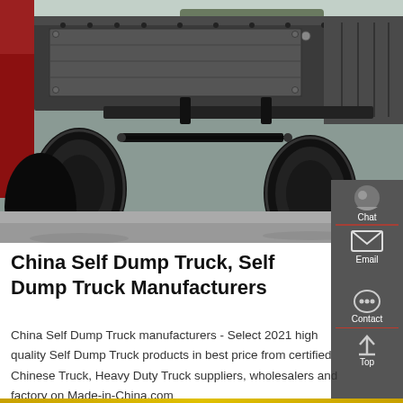[Figure (photo): Underside view of a Chinese dump truck showing tires, chassis, and mechanical components from a low angle. A red vehicle is visible on the left edge. The ground is asphalt.]
China Self Dump Truck, Self Dump Truck Manufacturers
China Self Dump Truck manufacturers - Select 2021 high quality Self Dump Truck products in best price from certified Chinese Truck, Heavy Duty Truck suppliers, wholesalers and factory on Made-in-China.com